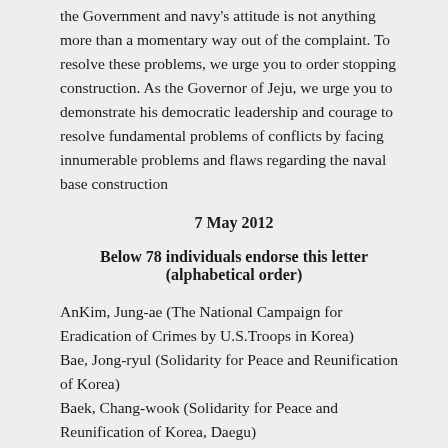the Government and navy's attitude is not anything more than a momentary way out of the complaint. To resolve these problems, we urge you to order stopping construction. As the Governor of Jeju, we urge you to demonstrate his democratic leadership and courage to resolve fundamental problems of conflicts by facing innumerable problems and flaws regarding the naval base construction
7 May 2012
Below 78 individuals endorse this letter (alphabetical order)
AnKim, Jung-ae (The National Campaign for Eradication of Crimes by U.S.Troops in Korea)
Bae, Jong-ryul (Solidarity for Peace and Reunification of Korea)
Baek, Chang-wook (Solidarity for Peace and Reunification of Korea, Daegu)